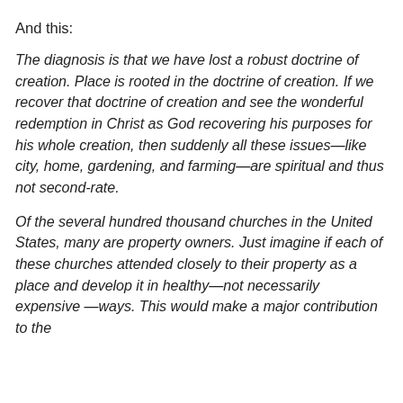And this:
The diagnosis is that we have lost a robust doctrine of creation. Place is rooted in the doctrine of creation. If we recover that doctrine of creation and see the wonderful redemption in Christ as God recovering his purposes for his whole creation, then suddenly all these issues—like city, home, gardening, and farming—are spiritual and thus not second-rate.
Of the several hundred thousand churches in the United States, many are property owners. Just imagine if each of these churches attended closely to their property as a place and develop it in healthy—not necessarily expensive —ways. This would make a major contribution to the